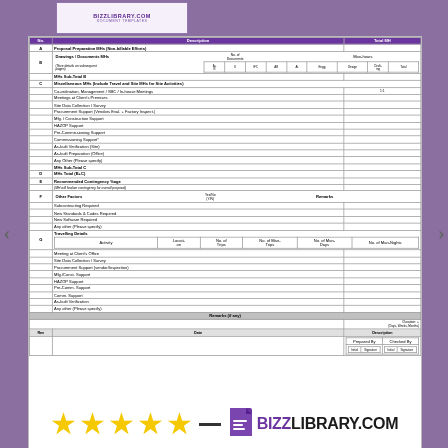[Figure (screenshot): BizzLibrary.com document template preview header with purple border]
| No. | Description | Total MH |
| --- | --- | --- |
| A | Proposal Preparation MHs (Non-billable Efforts) |  |
| B | Drawings / Documents MHs |  |
|  | (Give details on subsequent pages) |  |
|  | MHs Sub-Total B |  |
| C | Miscellaneous MHs (Include Travel and Site MHs for Site Activities) |  |
|  | Co-ordination, Management / SBC / In-house Meetings |  |
|  | Meetings at Client's Premises |  |
|  | Site Data Collection / Survey |  |
|  | Procurement Support (Vendors Eval. + Factory Inspect.) |  |
|  | Mfg. / Construction Support |  |
|  | HAZOP Support |  |
|  | Pre-Commissioning Support |  |
|  | Commissioning Support |  |
|  | As-built Verification (Site) |  |
|  | As-built Preparation (Office) |  |
|  | Any Other (Please specify) |  |
|  | MHs Sub-Total C |  |
| D | MHs Total (B+C) |  |
| E | Recommended Contingency %age |  |
|  | (MH will finalize contingency for overall proposal) |  |
| F | Other Factors |  |
|  | Subcontracting Required |  |
|  | New Standards & Codes Required |  |
|  | New Software Required |  |
|  | Any other (Please specify) |  |
| G | Travelling Details |  |
|  | Meeting at Client's Office |  |
|  | Site Data Collection / Survey |  |
|  | Procurement Support (vendor/Inspection) |  |
|  | Mfg./Const. Support |  |
|  | HAZOP Support |  |
|  | Pre-Comm. Support |  |
|  | Comm. Support |  |
|  | As-built Verification |  |
|  | Any other (Please specify) |  |
|  | Remarks (if any) |  |
[Figure (infographic): Five gold stars rating and BizzLibrary.com logo]
BizzLibrary.com